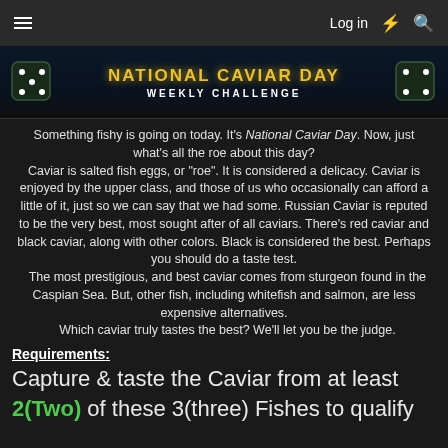Log in
[Figure (illustration): National Caviar Day Weekly Challenge banner with dice graphics, dark blue background, gold text title and white subtitle]
Something fishy is going on today. It's National Caviar Day. Now, just what's all the roe about this day? Caviar is salted fish eggs, or "roe". It is considered a delicacy. Caviar is enjoyed by the upper class, and those of us who occasionally can afford a little of it, just so we can say that we had some. Russian Caviar is reputed to be the very best, most sought after of all caviars. There's red caviar and black caviar, along with other colors. Black is considered the best. Perhaps you should do a taste test. The most prestigious, and best caviar comes from sturgeon found in the Caspian Sea. But, other fish, including whitefish and salmon, are less expensive alternatives. Which caviar truly tastes the best? We'll let you be the judge.
Requirements:
Capture & taste the Caviar from at least 2(Two) of these 3(three) Fishes to qualify